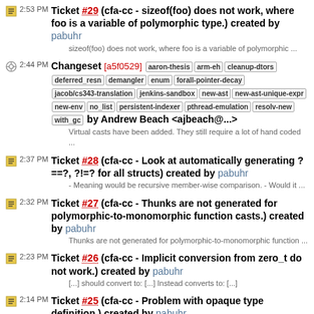2:53 PM Ticket #29 (cfa-cc - sizeof(foo) does not work, where foo is a variable of polymorphic type.) created by pabuhr
sizeof(foo) does not work, where foo is a variable of polymorphic ...
2:44 PM Changeset [a5f0529] aaron-thesis arm-eh cleanup-dtors deferred_resn demangler enum forall-pointer-decay jacob/cs343-translation jenkins-sandbox new-ast new-ast-unique-expr new-env no_list persistent-indexer pthread-emulation resolv-new with_gc by Andrew Beach <ajbeach@...>
Virtual casts have been added. They still require a lot of hand coded ...
2:37 PM Ticket #28 (cfa-cc - Look at automatically generating ?==?, ?!=? for all structs) created by pabuhr
- Meaning would be recursive member-wise comparison. - Would it ...
2:32 PM Ticket #27 (cfa-cc - Thunks are not generated for polymorphic-to-monomorphic function casts.) created by pabuhr
Thunks are not generated for polymorphic-to-monomorphic function ...
2:23 PM Ticket #26 (cfa-cc - Implicit conversion from zero_t do not work.) created by pabuhr
[...] should convert to: [...] Instead converts to: [...]
2:14 PM Ticket #25 (cfa-cc - Problem with opaque type definition.) created by pabuhr
Fix or remove. [...]
2:11 PM Ticket #24 (cfa-cc - Non-compatible safety conversion (like C++), prevent void * to T *) created by pabuhr